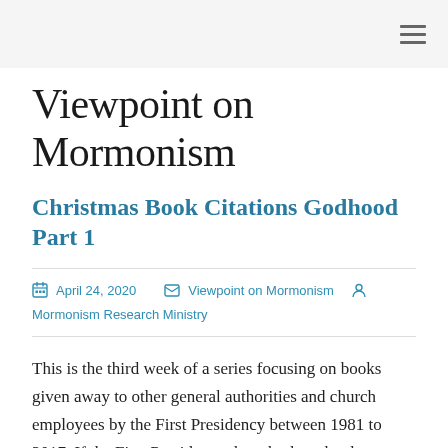≡ (hamburger menu icon)
Viewpoint on Mormonism
Christmas Book Citations Godhood Part 1
April 24, 2020   Viewpoint on Mormonism   Mormonism Research Ministry
This is the third week of a series focusing on books given away to other general authorities and church employees by the First Presidency between 1981 to 2017. If the First Presidency thought these books were worthy of being reprinted using expensive